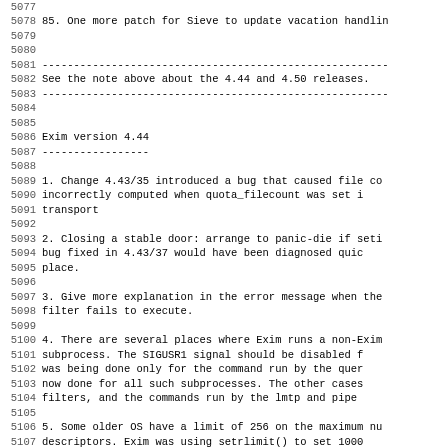5077
5078  85. One more patch for Sieve to update vacation handlin
5079
5080
5081  -------------------------------------------------------
5082  See the note above about the 4.44 and 4.50 releases.
5083  -------------------------------------------------------
5084
5085
5086  Exim version 4.44
5087  -----------------
5088
5089   1. Change 4.43/35 introduced a bug that caused file co
5090       incorrectly computed when quota_filecount was set i
5091       transport
5092
5093   2. Closing a stable door: arrange to panic-die if seti
5094       bug fixed in 4.43/37 would have been diagnosed quic
5095       place.
5096
5097   3. Give more explanation in the error message when the
5098       filter fails to execute.
5099
5100   4. There are several places where Exim runs a non-Exim
5101       subprocess. The SIGUSR1 signal should be disabled f
5102       was being done only for the command run by the quer
5103       now done for all such subprocesses. The other cases
5104       filters, and the commands run by the lmtp and pipe
5105
5106   5. Some older OS have a limit of 256 on the maximum nu
5107       descriptors. Exim was using setrlimit() to set 1000
5108       unlikely to be exceeded. Change 4.43/17 caused a lo
5109       ...